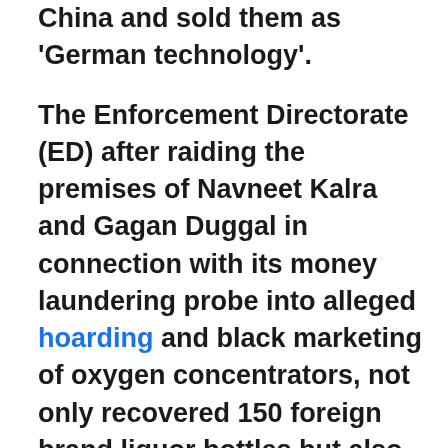China and sold them as 'German technology'.
The Enforcement Directorate (ED) after raiding the premises of Navneet Kalra and Gagan Duggal in connection with its money laundering probe into alleged hoarding and black marketing of oxygen concentrators, not only recovered 150 foreign brand liquor bottles but also unearthed over 7,000 oxygen concentrators which were allegedly imported from China which were sold to people at exorbitant prices by falsely claiming that German technology was used in the manufacturing of the oxygen